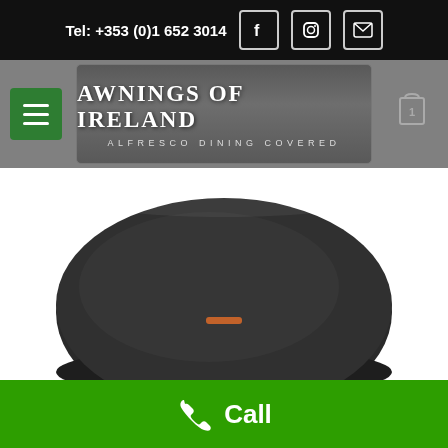Tel: +353 (0)1 652 3014
[Figure (logo): Awnings of Ireland logo with text 'AWNINGS OF IRELAND' and subtitle 'ALFRESCO DINING COVERED' on grey background]
[Figure (photo): Dark round flat disc product (patio heater cover or fire pit cover) shot on white background, top-down perspective showing a slightly elliptical dark charcoal-colored circular pad with a small orange accent in the center]
Call